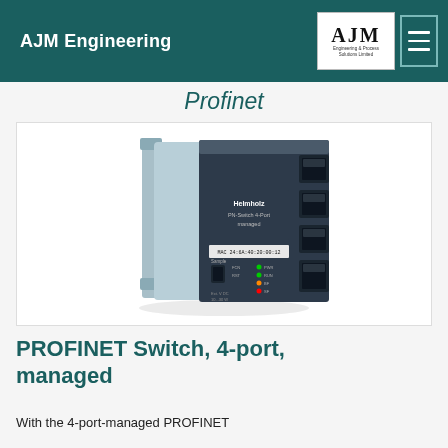AJM Engineering
Profinet
[Figure (photo): Helmholz PN-Switch 4-Port managed industrial PROFINET switch device, light blue enclosure with dark front panel showing 4 RJ45 ports, USB port, LED indicators, and MAC address label]
PROFINET Switch, 4-port, managed
With the 4-port-managed PROFINET